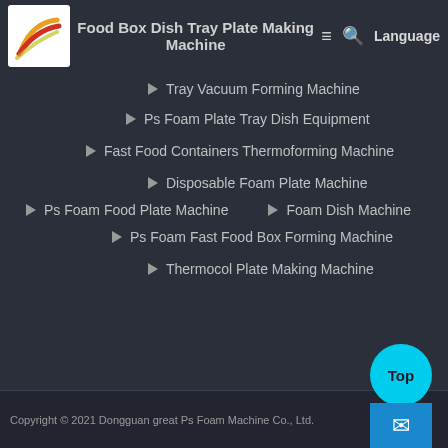[Figure (logo): Company logo with colored wave/flame design on white background]
Food Box Dish Tray Plate Making Machine
Tray Vacuum Forming Machine
Ps Foam Plate Tray Dish Equipment
Fast Food Containers Thermoforming Machine
Disposable Foam Plate Machine
Ps Foam Food Plate Machine
Foam Dish Machine
Ps Foam Fast Food Box Forming Machine
Thermocol Plate Making Machine
Copyright © 2021 Dongguan great Ps Foam Machine Co., Ltd.